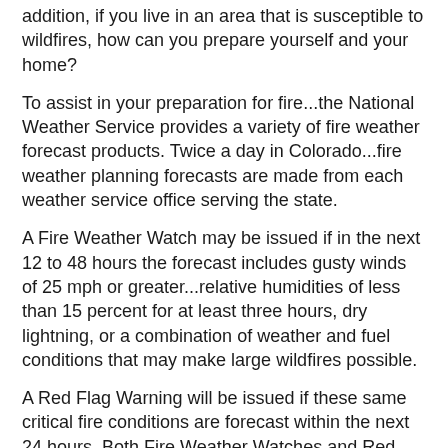addition, if you live in an area that is susceptible to wildfires, how can you prepare yourself and your home?
To assist in your preparation for fire...the National Weather Service provides a variety of fire weather forecast products. Twice a day in Colorado...fire weather planning forecasts are made from each weather service office serving the state.
A Fire Weather Watch may be issued if in the next 12 to 48 hours the forecast includes gusty winds of 25 mph or greater...relative humidities of less than 15 percent for at least three hours, dry lightning, or a combination of weather and fuel conditions that may make large wildfires possible.
A Red Flag Warning will be issued if these same critical fire conditions are forecast within the next 24 hours. Both Fire Weather Watches and Red Flag Warnings are issued in coordination with land management agencies.